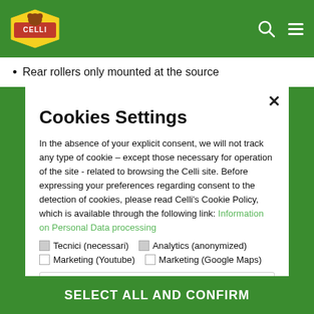Celli - Header with logo and navigation icons
Rear rollers only mounted at the source
Cookies Settings
In the absence of your explicit consent, we will not track any type of cookie – except those necessary for operation of the site - related to browsing the Celli site. Before expressing your preferences regarding consent to the detection of cookies, please read Celli's Cookie Policy, which is available through the following link: Information on Personal Data processing
☑ Tecnici (necessari)  ☑ Analytics (anonymized)  ☐ Marketing (Youtube)  ☐ Marketing (Google Maps)
More information ▼
SELECT ALL AND CONFIRM